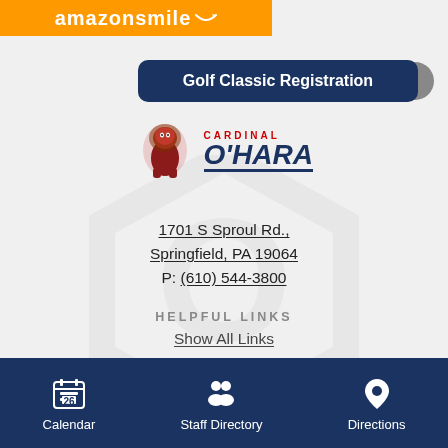[Figure (logo): Amazon Smile orange banner with logo and text]
Golf Classic Registration
[Figure (logo): Cardinal O'Hara High School logo with lion mascot and school name]
1701 S Sproul Rd., Springfield, PA 19064 P: (610) 544-3800
HELPFUL LINKS
Show All Links
Pride. Excellence. Tradition.
[Figure (infographic): Bottom navigation bar with Calendar, Staff Directory, and Directions icons]